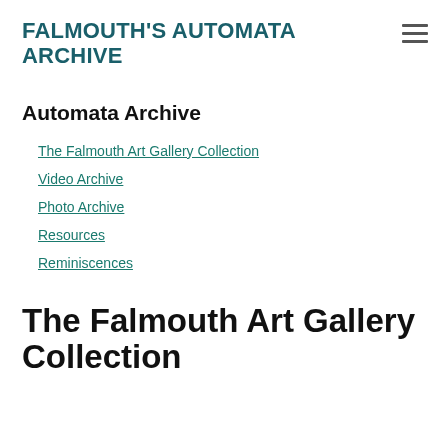FALMOUTH'S AUTOMATA ARCHIVE
Automata Archive
The Falmouth Art Gallery Collection
Video Archive
Photo Archive
Resources
Reminiscences
The Falmouth Art Gallery Collection